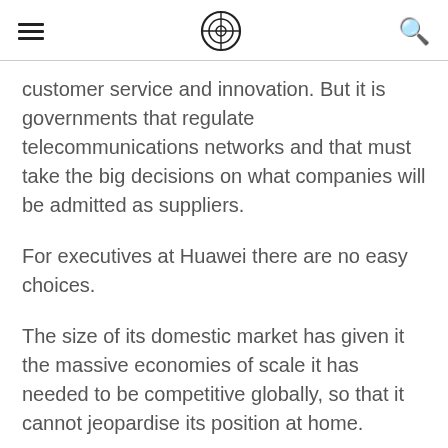[hamburger menu] [circular logo icon] [search icon]
customer service and innovation. But it is governments that regulate telecommunications networks and that must take the big decisions on what companies will be admitted as suppliers.
For executives at Huawei there are no easy choices.
The size of its domestic market has given it the massive economies of scale it has needed to be competitive globally, so that it cannot jeopardise its position at home.
Its role in global markets has allowed it to innovate.